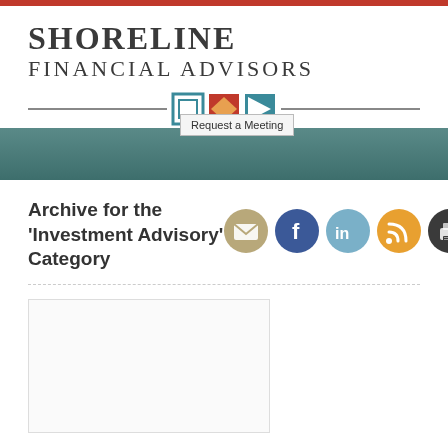[Figure (logo): Shoreline Financial Advisors logo with text and navigation icons]
Archive for the 'Investment Advisory' Category
[Figure (infographic): Social sharing icons: email, Facebook, LinkedIn, RSS, print]
[Figure (photo): Blank white card/image placeholder]